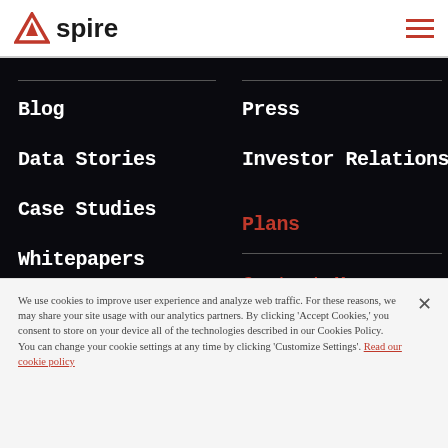Aspire logo and hamburger menu
Blog
Data Stories
Case Studies
Whitepapers
Wiki
Webinars
Press
Investor Relations
Plans
Contact Us
We use cookies to improve user experience and analyze web traffic. For these reasons, we may share your site usage with our analytics partners. By clicking 'Accept Cookies,' you consent to store on your device all of the technologies described in our Cookies Policy. You can change your cookie settings at any time by clicking 'Customize Settings'. Read our cookie policy